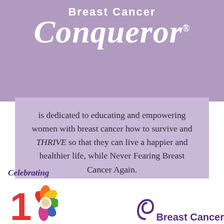Breast Cancer Conqueror®
is dedicated to educating and empowering women with breast cancer how to survive and THRIVE so that they can live a happier and healthier life, while Never Fearing Breast Cancer Again.
[Figure (logo): Celebrating 10 anniversary logo with colorful flower and Breast Cancer text]
Celebrating 10 Breast Cancer